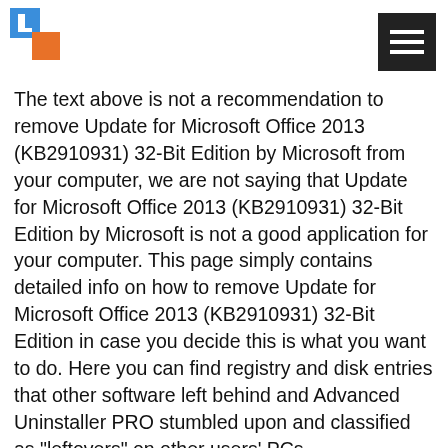[Figure (logo): Logo with blue and orange squares forming a bracket-like shape, and a hamburger menu icon on the right]
The text above is not a recommendation to remove Update for Microsoft Office 2013 (KB2910931) 32-Bit Edition by Microsoft from your computer, we are not saying that Update for Microsoft Office 2013 (KB2910931) 32-Bit Edition by Microsoft is not a good application for your computer. This page simply contains detailed info on how to remove Update for Microsoft Office 2013 (KB2910931) 32-Bit Edition in case you decide this is what you want to do. Here you can find registry and disk entries that other software left behind and Advanced Uninstaller PRO stumbled upon and classified as "leftovers" on other users' PCs.
[Figure (photo): Partial photo of a person's face/head at the bottom left of the page]